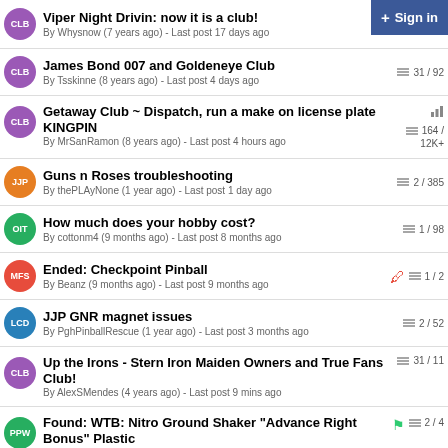Viper Night Drivin: now it is a club! By Whysnow (7 years ago) - Last post 17 days ago
James Bond 007 and Goldeneye Club By Tsskinne (8 years ago) - Last post 4 days ago | 31 / 92
Getaway Club ~ Dispatch, run a make on license plate KINGPIN By MrSanRamon (8 years ago) - Last post 4 hours ago | 164 / 12K+
Guns n Roses troubleshooting By thePLAyNone (1 year ago) - Last post 1 day ago | 2 / 385
How much does your hobby cost? By cottonm4 (9 months ago) - Last post 8 months ago | 1 / 98
Ended: Checkpoint Pinball By Beanz (9 months ago) - Last post 9 months ago | 1 / 2
JJP GNR magnet issues By PghPinballRescue (1 year ago) - Last post 3 months ago | 2 / 52
Up the Irons - Stern Iron Maiden Owners and True Fans Club! By AlexSMendes (4 years ago) - Last post 9 mins ago | 31 / 11
Found: WTB: Nitro Ground Shaker "Advance Right Bonus" Plastic By PSUTownie (12 months ago) - Last post 11 months ago | 2 / 4
JJP Guns n Roses BNOD parts | 1 / 4